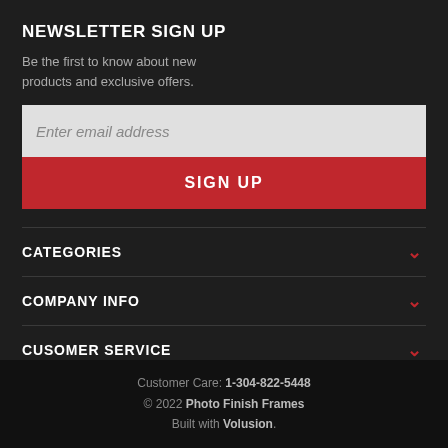NEWSLETTER SIGN UP
Be the first to know about new products and exclusive offers.
Enter email address
SIGN UP
CATEGORIES
COMPANY INFO
CUSOMER SERVICE
POLICIES
Customer Care: 1-304-822-5448 © 2022 Photo Finish Frames Built with Volusion.